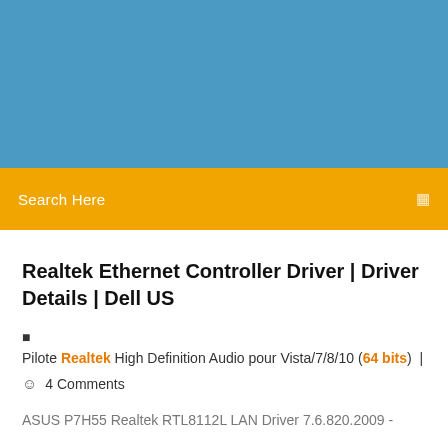[Figure (screenshot): Blue header banner background image]
Search Here
Realtek Ethernet Controller Driver | Driver Details | Dell US
Pilote Realtek High Definition Audio pour Vista/7/8/10 (64 bits)  |
4 Comments
ASUS P7H55 Realtek RTL8112L LAN Driver 7.6.820.2009 -